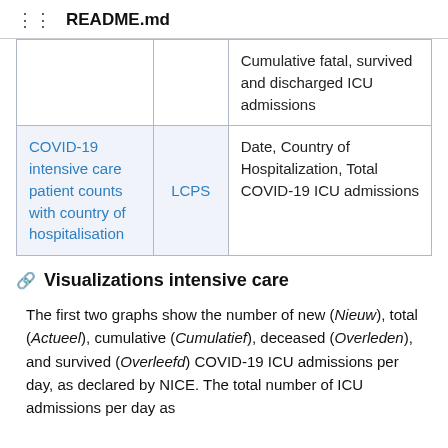README.md
|  |  | Cumulative fatal, survived and discharged ICU admissions |
| COVID-19 intensive care patient counts with country of hospitalisation | LCPS | Date, Country of Hospitalization, Total COVID-19 ICU admissions |
Visualizations intensive care
The first two graphs show the number of new (Nieuw), total (Actueel), cumulative (Cumulatief), deceased (Overleden), and survived (Overleefd) COVID-19 ICU admissions per day, as declared by NICE. The total number of ICU admissions per day as